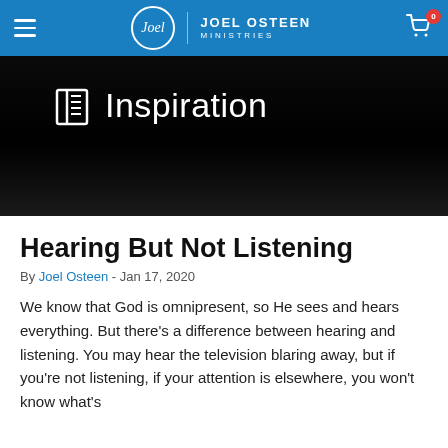Joel Osteen Ministries
[Figure (screenshot): Dark hero banner with book/document icon and 'Inspiration' text in white on black gradient background]
Hearing But Not Listening
By Joel Osteen - Jan 17, 2020
We know that God is omnipresent, so He sees and hears everything. But there’s a difference between hearing and listening. You may hear the television blaring away, but if you’re not listening, if your attention is elsewhere, you won’t know what’s